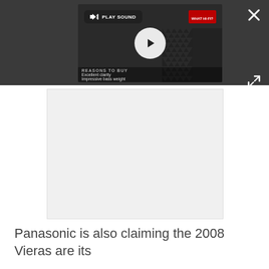[Figure (screenshot): Video player overlay on a dark bar showing a speaker/headphone product video from What Hi-Fi. Contains a 'PLAY SOUND' button with speaker icon, a play button circle, What Hi-Fi badge, and text overlays reading 'REASONS TO BUY', 'Excellent clarity', and 'Impressive bass weight'. A close (X) button and expand button are visible on the right side.]
[Figure (screenshot): A light grey advertisement/content placeholder box below the video overlay.]
Panasonic is also claiming the 2008 Vieras are its